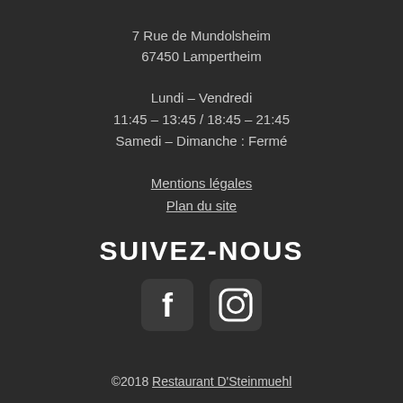7 Rue de Mundolsheim
67450 Lampertheim
Lundi – Vendredi
11:45 – 13:45 / 18:45 – 21:45
Samedi – Dimanche : Fermé
Mentions légales
Plan du site
SUIVEZ-NOUS
[Figure (illustration): Facebook and Instagram social media icons, white on dark rounded square backgrounds]
©2018 Restaurant D'Steinmuehl